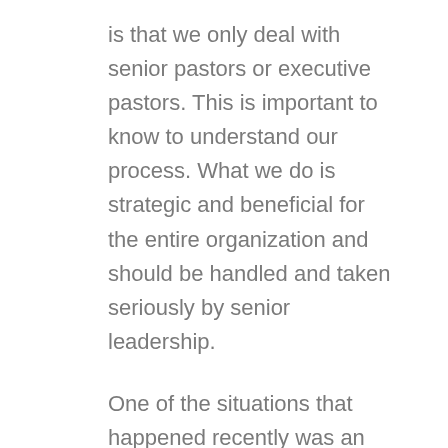is that we only deal with senior pastors or executive pastors. This is important to know to understand our process. What we do is strategic and beneficial for the entire organization and should be handled and taken seriously by senior leadership.
One of the situations that happened recently was an executive pastor contacted us and copied his First Impressions Director in on the email and said he'd “let him handle the details”. We don’t do that. Greg has too much integrity and believes too strongly in the “secret” of our secret shopper service that he won’t just take your money and do a